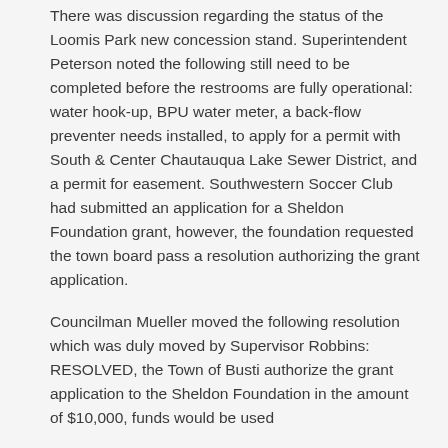There was discussion regarding the status of the Loomis Park new concession stand. Superintendent Peterson noted the following still need to be completed before the restrooms are fully operational: water hook-up, BPU water meter, a back-flow preventer needs installed, to apply for a permit with South & Center Chautauqua Lake Sewer District, and a permit for easement. Southwestern Soccer Club had submitted an application for a Sheldon Foundation grant, however, the foundation requested the town board pass a resolution authorizing the grant application.
Councilman Mueller moved the following resolution which was duly moved by Supervisor Robbins: RESOLVED, the Town of Busti authorize the grant application to the Sheldon Foundation in the amount of $10,000, funds would be used